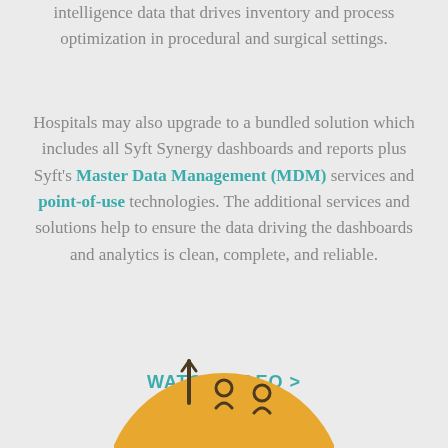intelligence data that drives inventory and process optimization in procedural and surgical settings.
Hospitals may also upgrade to a bundled solution which includes all Syft Synergy dashboards and reports plus Syft's Master Data Management (MDM) services and point-of-use technologies. The additional services and solutions help to ensure the data driving the dashboards and analytics is clean, complete, and reliable.
WATCH VIDEO >
[Figure (illustration): A yellow/golden circle partially visible at the bottom of the page, containing icons resembling analytics or data chart symbols drawn in dark lines.]